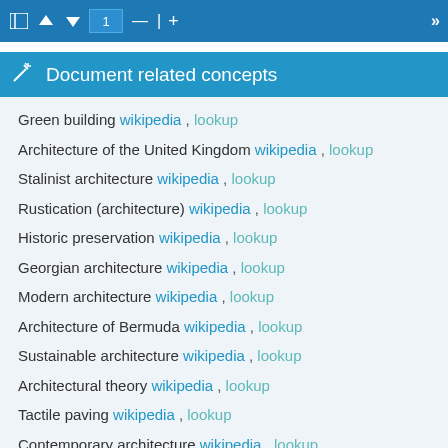1
Document related concepts
Green building wikipedia , lookup
Architecture of the United Kingdom wikipedia , lookup
Stalinist architecture wikipedia , lookup
Rustication (architecture) wikipedia , lookup
Historic preservation wikipedia , lookup
Georgian architecture wikipedia , lookup
Modern architecture wikipedia , lookup
Architecture of Bermuda wikipedia , lookup
Sustainable architecture wikipedia , lookup
Architectural theory wikipedia , lookup
Tactile paving wikipedia , lookup
Contemporary architecture wikipedia , lookup
Russian architecture wikipedia , lookup
Architecture of ... wikipedia , lookup